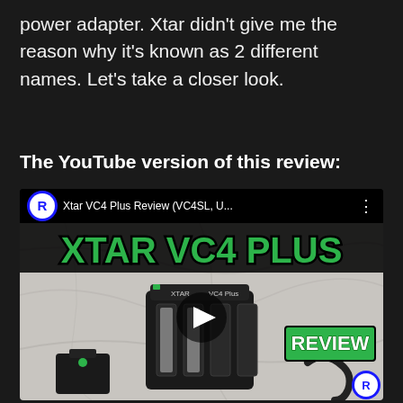power adapter. Xtar didn't give me the reason why it's known as 2 different names. Let's take a closer look.
The YouTube version of this review:
[Figure (screenshot): YouTube video thumbnail for 'Xtar VC4 Plus Review (VC4SL, U...' showing the XTAR VC4 Plus charger on a marble surface with green bold title text 'XTAR VC4 PLUS' and 'REVIEW' overlay, with a play button in the center.]